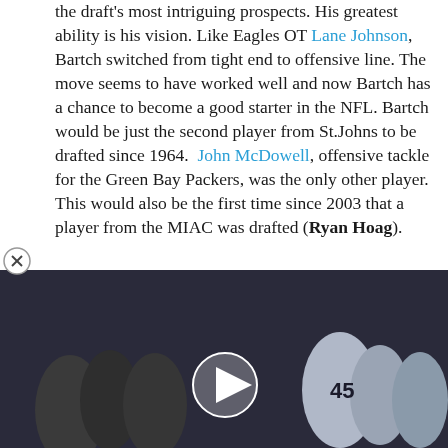the draft's most intriguing prospects. His greatest ability is his vision. Like Eagles OT Lane Johnson, Bartch switched from tight end to offensive line. The move seems to have worked well and now Bartch has a chance to become a good starter in the NFL. Bartch would be just the second player from St.Johns to be drafted since 1964. John McDowell, offensive tackle for the Green Bay Packers, was the only other player. This would also be the first time since 2003 that a player from the MIAC was drafted (Ryan Hoag).
[Figure (screenshot): Embedded video player showing football players on field, with play button overlay and caption text at bottom about Raiders roster moves]
cern is his ability to be n will be useful in his ability nconsistency with his hands for his coaches. From a till needs time to develop, but has the potential to develop into a Pro-Bowl
Facebook | Twitter | Reddit | Comment | Share